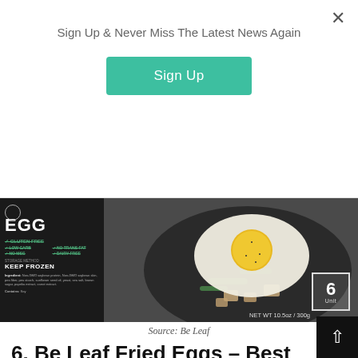Sign Up & Never Miss The Latest News Again
Sign Up
[Figure (photo): Product packaging for Be Leaf plant-based fried egg on the left showing label with EGG, GLUTEN FREE, LOW CARB, NO TRANS FAT, NO MSG, DAIRY FREE, KEEP FROZEN, ingredients, and a cooked plant-based fried egg on a dark plate surrounded by vegetables on the right, with a box showing '6 Unit' and 'NET WT 10.5oz / 300g']
Source: Be Leaf
6. Be Leaf Fried Eggs – Best Ready-to-Eat
I was really impressed with the Be Leaf fried egg. It delivered the same taste, texture, and mouthfeel you get